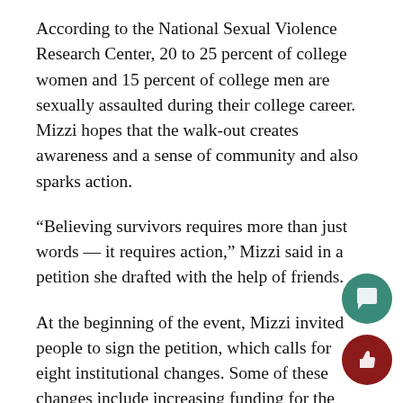According to the National Sexual Violence Research Center, 20 to 25 percent of college women and 15 percent of college men are sexually assaulted during their college career. Mizzi hopes that the walk-out creates awareness and a sense of community and also sparks action.
“Believing survivors requires more than just words — it requires action,” Mizzi said in a petition she drafted with the help of friends.
At the beginning of the event, Mizzi invited people to sign the petition, which calls for eight institutional changes. Some of these changes include increasing funding for the Safe Office and University Counseling Center, expanding medical amnesty available to students and improving related first-year orientation events.